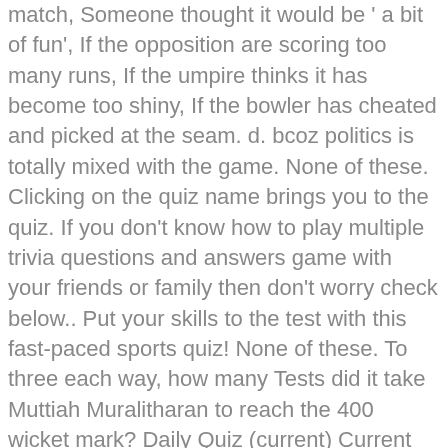match, Someone thought it would be 'a bit of fun', If the opposition are scoring too many runs, If the umpire thinks it has become too shiny, If the bowler has cheated and picked at the seam. d. bcoz politics is totally mixed with the game. None of these. Clicking on the quiz name brings you to the quiz. If you don't know how to play multiple trivia questions and answers game with your friends or family then don't worry check below.. Put your skills to the test with this fast-paced sports quiz! None of these. To three each way, how many Tests did it take Muttiah Muralitharan to reach the 400 wicket mark? Daily Quiz (current) Current Affairs; Jobs; Mock Test; Downloads; Buy Current Affairs PDF 2020. In which year was cricket included as part of the Olympic Games? Animals Quiz - Multiple Choice Animal Quiz Questions & Answers. 503 different Multiple Choice Quizzes on JetPunk.com. Multiple Choice GK Questions and Answers Part 2 (Questions 17-31) 17. Share; Tweet; Pin; Multiple choice general knowledge questions on different topics. 20 cricket questions for your home pub quiz. Who said, “The bowler's Holding, the batman's Willey”? The most massive fanbase of this sport lies in the Indian subcontinent, Australia, West Indies, several European countries, and of course, England. How well do you know the rules of cricket? This contains 10 Multiple Choice Questions for Class 8 Test: Passage On The Game Sense & Cricket (mcq) to study with solutions